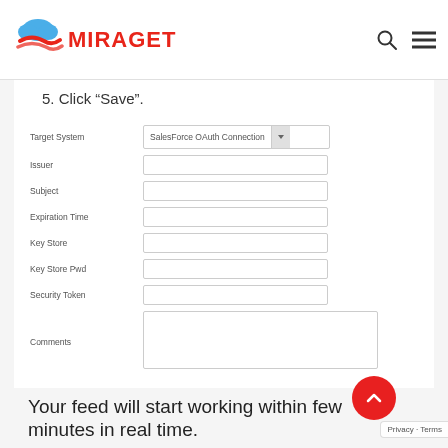MIRAGET
5. Click “Save”.
[Figure (screenshot): Web form showing Salesforce OAuth Connection configuration fields: Target System (dropdown with SalesForce OAuth Connection), Issuer, Subject, Expiration Time, Key Store, Key Store Pwd, Security Token, Comments (textarea)]
Your feed will start working within few minutes in real time.